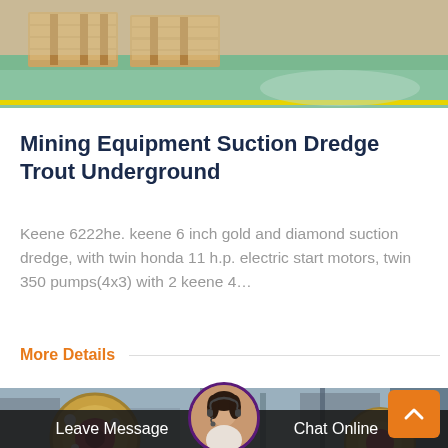[Figure (photo): Top portion of product listing page showing wooden pallets on a green industrial floor with yellow safety stripe]
Mining Equipment Suction Dredge Trout Underground
Keene 6222he. keene 6 inch gold and diamond suction dredge, with twin honda 11 h.p. electric start motors, twin 350 pumps(4x3) with 2 keene 4…
More Details
[Figure (photo): Industrial mining equipment with large red and yellow mechanical wheels/pulleys in a factory setting]
Leave Message  Chat Online